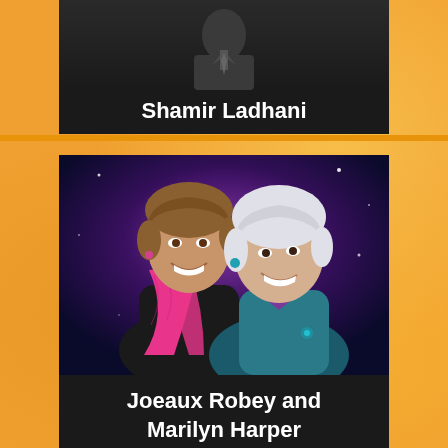[Figure (photo): Portrait photo of Shamir Ladhani against dark background, partially visible at top]
Shamir Ladhani
[Figure (photo): Portrait photo of two women smiling together against a purple/galaxy background. Left woman has short brown hair and pink floral scarf. Right woman has short white hair and teal/blue outfit.]
Joeaux Robey and Marilyn Harper